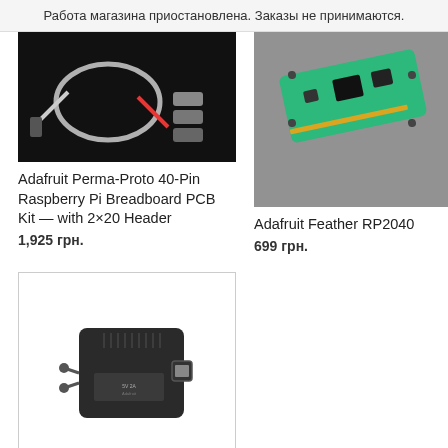Работа магазина приостановлена. Заказы не принимаются.
[Figure (photo): Adafruit Perma-Proto 40-Pin Raspberry Pi Breadboard PCB Kit with cables on dark background]
Adafruit Perma-Proto 40-Pin Raspberry Pi Breadboard PCB Kit — with 2×20 Header
1,925 грн.
[Figure (photo): Adafruit Feather RP2040 green microcontroller board on grey background]
Adafruit Feather RP2040
699 грн.
[Figure (photo): Black USB power adapter with EU plug on white background]